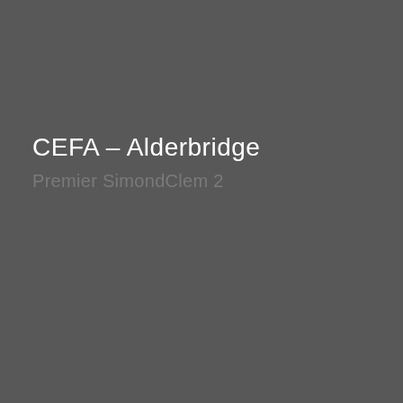CEFA – Alderbridge
Premier SimondClem 2